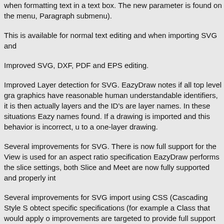when formatting text in a text box. The new parameter is found on the menu, Paragraph submenu).
This is available for normal text editing and when importing SVG and
Improved SVG, DXF, PDF and EPS editing.
Improved Layer detection for SVG. EazyDraw notes if all top level graphics have reasonable human understandable identifiers, it is then actually layers and the ID's are layer names. In these situations Eazy names found. If a drawing is imported and this behavior is incorrect, u to a one-layer drawing.
Several improvements for SVG. There is now full support for the View is used for an aspect ratio specification EazyDraw performs the slice settings, both Slice and Meet are now fully supported and properly int
Several improvements for SVG import using CSS (Cascading Style S obtect specific specifications (for example a Class that would apply o improvements are targeted to provide full support for SVG generated SVG now seems to import very well.
SVG enhancements related to import of very small font size text. Imp across single rows of text. Improved speed for some SVG imports.
Improved Color Editing.
Changed the methods for application of Line and Fill colors using the applies when several graphics are selected for simultaneous change